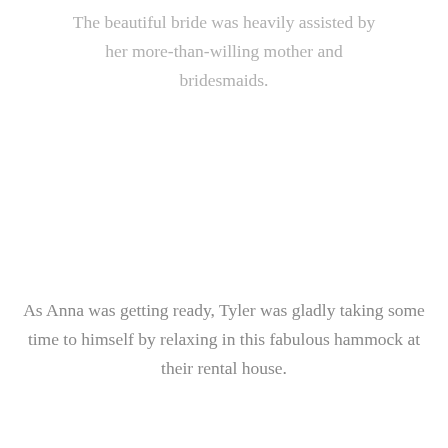The beautiful bride was heavily assisted by her more-than-willing mother and bridesmaids.
As Anna was getting ready, Tyler was gladly taking some time to himself by relaxing in this fabulous hammock at their rental house.